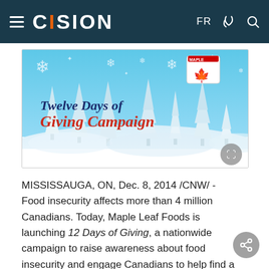CISION  FR
[Figure (illustration): Twelve Days of Giving Campaign banner image with winter/Christmas theme showing white pine trees on a snowy landscape with snowflakes on a blue sky background, Maple Leaf Foods logo top right, text reading 'Twelve Days of Giving Campaign' in navy and red cursive/italic font at the bottom.]
MISSISSAUGA, ON, Dec. 8, 2014 /CNW/ - Food insecurity affects more than 4 million Canadians. Today, Maple Leaf Foods is launching 12 Days of Giving, a nationwide campaign to raise awareness about food insecurity and engage Canadians to help find a solution.